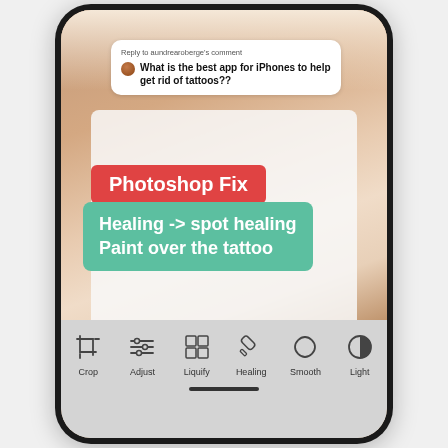[Figure (screenshot): TikTok video screenshot showing a person in a white tank top with a comment bubble asking 'What is the best app for iPhones to help get rid of tattoos??' and overlaid text labels showing the Photoshop Fix app with healing instructions. Bottom toolbar shows Photoshop Fix app with Crop, Adjust, Liquify, Healing, Smooth, Light tools.]
Reply to aundrearoberge's comment
What is the best app for iPhones to help get rid of tattoos??
Photoshop Fix
Healing -> spot healing Paint over the tattoo
Crop
Adjust
Liquify
Healing
Smooth
Light